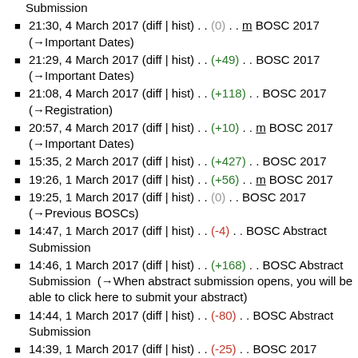21:30, 4 March 2017 (diff | hist) . . (0) . . m BOSC 2017 (→Important Dates)
21:29, 4 March 2017 (diff | hist) . . (+49) . . BOSC 2017 (→Important Dates)
21:08, 4 March 2017 (diff | hist) . . (+118) . . BOSC 2017 (→Registration)
20:57, 4 March 2017 (diff | hist) . . (+10) . . m BOSC 2017 (→Important Dates)
15:35, 2 March 2017 (diff | hist) . . (+427) . . BOSC 2017
19:26, 1 March 2017 (diff | hist) . . (+56) . . m BOSC 2017
19:25, 1 March 2017 (diff | hist) . . (0) . . BOSC 2017 (→Previous BOSCs)
14:47, 1 March 2017 (diff | hist) . . (-4) . . BOSC Abstract Submission
14:46, 1 March 2017 (diff | hist) . . (+168) . . BOSC Abstract Submission  (→When abstract submission opens, you will be able to click here to submit your abstract)
14:44, 1 March 2017 (diff | hist) . . (-80) . . BOSC Abstract Submission
14:39, 1 March 2017 (diff | hist) . . (-25) . . BOSC 2017 (→Session Topics)
14:38, 1 March 2017 (diff | hist) . . (-14) . . m BOSC 2017
12:13, 8 February 2017 (diff | hist) . . (+26) . . BOSC Abstract Submission  (→Important Dates)
12:11, 8 February 2017 (diff | hist) . . (+39) . . BOSC